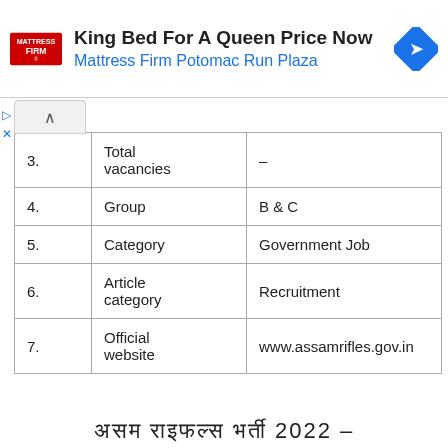[Figure (other): Mattress Firm advertisement banner with logo, text 'King Bed For A Queen Price Now' and 'Mattress Firm Potomac Run Plaza', and blue direction arrow icon]
| 3. | Total vacancies | – |
| 4. | Group | B & C |
| 5. | Category | Government Job |
| 6. | Article category | Recruitment |
| 7. | Official website | www.assamrifles.gov.in |
असम राइफल्स भर्ती 2022 –